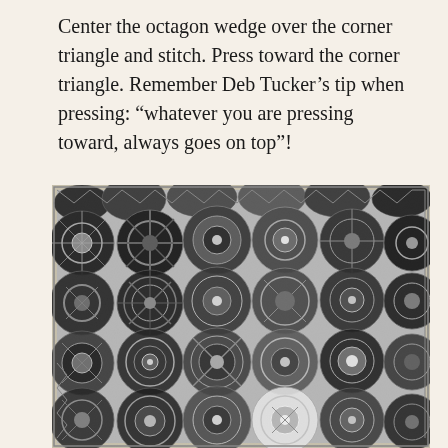Center the octagon wedge over the corner triangle and stitch. Press toward the corner triangle. Remember Deb Tucker’s tip when pressing: “whatever you are pressing toward, always goes on top”!
[Figure (photo): A large quilt made of octagon and square patchwork blocks in black, white, and grey tones, featuring intricate kaleidoscope and floral patterns. The quilt has a zigzag/sawtooth border edge, and each block displays a unique mandala-like or snowflake design. The photo is black and white.]